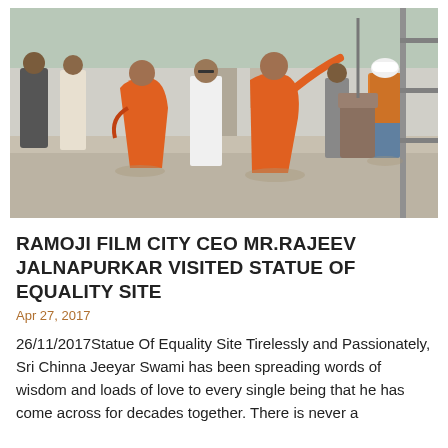[Figure (photo): Group of people at a construction site: two monks in orange robes in the foreground, men in white and formal wear in the middle, and a worker in an orange safety vest and white helmet on the right, against a backdrop of construction elements.]
RAMOJI FILM CITY CEO MR.RAJEEV JALNAPURKAR VISITED STATUE OF EQUALITY SITE
Apr 27, 2017
26/11/2017Statue Of Equality Site Tirelessly and Passionately, Sri Chinna Jeeyar Swami has been spreading words of wisdom and loads of love to every single being that he has come across for decades together. There is never a